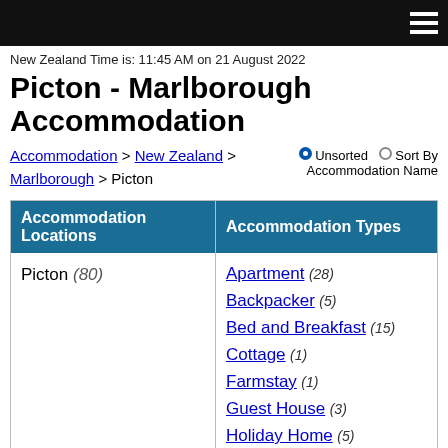New Zealand Time is: 11:45 AM on 21 August 2022
Picton - Marlborough Accommodation
Accommodation > New Zealand > Marlborough > Picton   Unsorted   Sort By Accommodation Name
| Accommodation Locations | Accommodation Types |
| --- | --- |
| Picton (80) | Apartment (28)
Backpacker (5)
Bed and Breakfast (15)
Cottage (1)
Farmstay (1)
Guest House (3)
Holiday Home (5)
Holiday Park (5) |